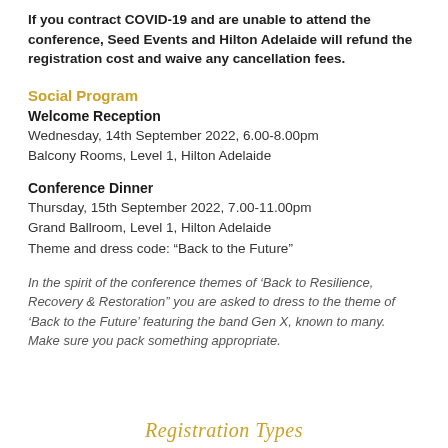If you contract COVID-19 and are unable to attend the conference, Seed Events and Hilton Adelaide will refund the registration cost and waive any cancellation fees.
Social Program
Welcome Reception
Wednesday, 14th September 2022, 6.00-8.00pm
Balcony Rooms, Level 1, Hilton Adelaide
Conference Dinner
Thursday, 15th September 2022, 7.00-11.00pm
Grand Ballroom, Level 1, Hilton Adelaide
Theme and dress code: “Back to the Future”
In the spirit of the conference themes of ‘Back to Resilience, Recovery & Restoration” you are asked to dress to the theme of ‘Back to the Future’ featuring the band Gen X, known to many.
Make sure you pack something appropriate.
Registration Types